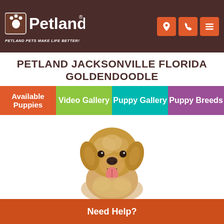Petland — PETLAND PETS MAKE LIFE BETTER!
PETLAND JACKSONVILLE FLORIDA GOLDENDOODLE
[Figure (illustration): Navigation menu with four colored tabs: Available Puppies (orange), Video Gallery (green), Puppy Gallery (teal), Puppy Breeds (purple)]
[Figure (photo): A fluffy golden/cream colored Goldendoodle puppy sitting with tongue out against a white background]
Need Help?